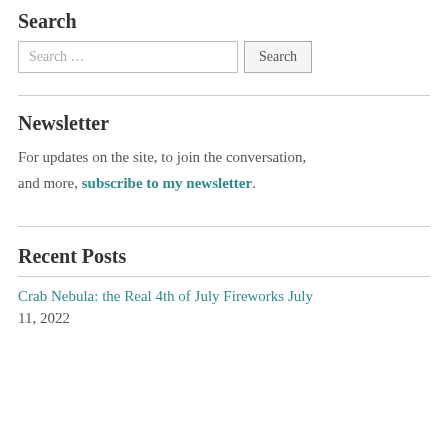Search
Search …  [Search button]
Newsletter
For updates on the site, to join the conversation, and more, subscribe to my newsletter.
Recent Posts
Crab Nebula: the Real 4th of July Fireworks  July 11, 2022